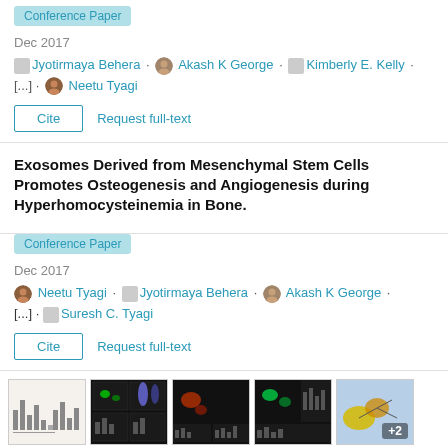Conference Paper
Dec 2017
Jyotirmaya Behera · Akash K George · Kimberly E. Kelly · [...] · Neetu Tyagi
Cite   Request full-text
Exosomes Derived from Mesenchymal Stem Cells Promotes Osteogenesis and Angiogenesis during Hyperhomocysteinemia in Bone.
Conference Paper
Dec 2017
Neetu Tyagi · Jyotirmaya Behera · Akash K George · [...] · Suresh C. Tyagi
Cite   Request full-text
[Figure (photo): Thumbnail images of research figures including bar charts, fluorescence microscopy images, and a schematic diagram with +2 indicator]